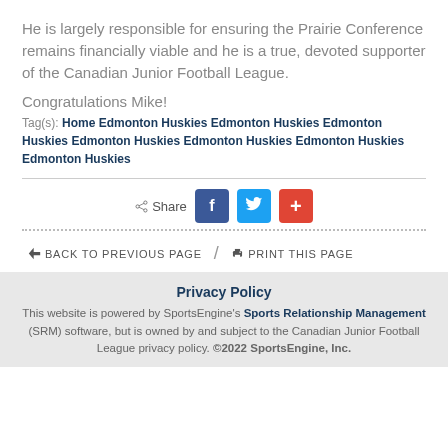He is largely responsible for ensuring the Prairie Conference remains financially viable and he is a true, devoted supporter of the Canadian Junior Football League.
Congratulations Mike!
Tag(s): Home Edmonton Huskies Edmonton Huskies Edmonton Huskies Edmonton Huskies Edmonton Huskies Edmonton Huskies Edmonton Huskies
[Figure (infographic): Share buttons row with Facebook, Twitter, and Google+ icons]
BACK TO PREVIOUS PAGE / PRINT THIS PAGE
Privacy Policy
This website is powered by SportsEngine's Sports Relationship Management (SRM) software, but is owned by and subject to the Canadian Junior Football League privacy policy. ©2022 SportsEngine, Inc.